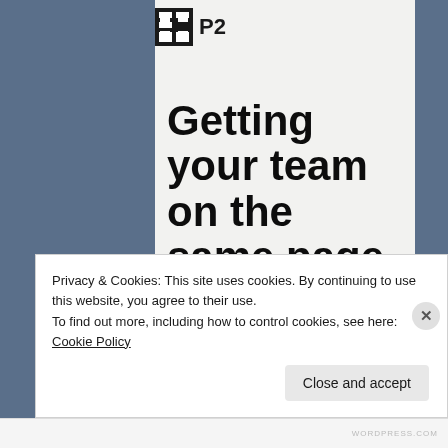[Figure (logo): P2 logo with dark square icon and P2 text]
Getting your team on the same page is easy.
Privacy & Cookies: This site uses cookies. By continuing to use this website, you agree to their use.
To find out more, including how to control cookies, see here: Cookie Policy
Close and accept